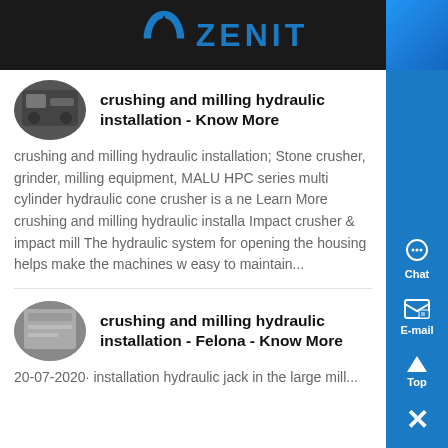[Figure (logo): Zenit company logo with blue arc/chevron icon and ZENIT text on dark background]
crushing and milling hydraulic installation - Know More
crushing and milling hydraulic installation; Stone crusher, grinder, milling equipment, MALU HPC series multi cylinder hydraulic cone crusher is a ne Learn More crushing and milling hydraulic installa Impact crusher & impact mill The hydraulic system for opening the housing helps make the machines w easy to maintain...
crushing and milling hydraulic installation - Felona - Know More
20-07-2020· installation hydraulic jack in the large mill...